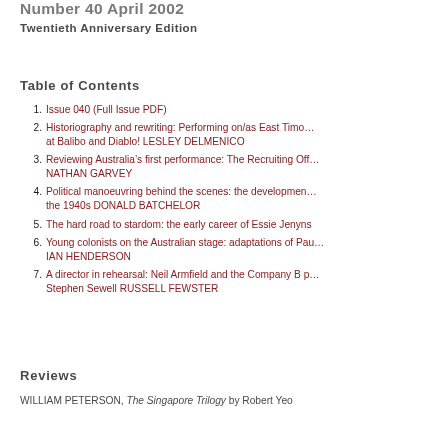Number 40 April 2002
Twentieth Anniversary Edition
Table of Contents
1. Issue 040 (Full Issue PDF)
2. Historiography and rewriting: Performing on/as East Timor at Balibo and Diablo! LESLEY DELMENICO
3. Reviewing Australia’s first performance: The Recruiting Officer NATHAN GARVEY
4. Political manoeuvring behind the scenes: the development the 1940s DONALD BATCHELOR
5. The hard road to stardom: the early career of Essie Jenyns
6. Young colonists on the Australian stage: adaptations of Paul IAN HENDERSON
7. A director in rehearsal: Neil Armfield and the Company B production of Stephen Sewell RUSSELL FEWSTER
Reviews
WILLIAM PETERSON, The Singapore Trilogy by Robert Yeo